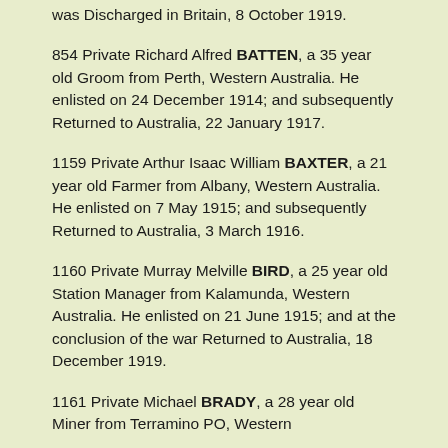was Discharged in Britain, 8 October 1919.
854 Private Richard Alfred BATTEN, a 35 year old Groom from Perth, Western Australia. He enlisted on 24 December 1914; and subsequently Returned to Australia, 22 January 1917.
1159 Private Arthur Isaac William BAXTER, a 21 year old Farmer from Albany, Western Australia. He enlisted on 7 May 1915; and subsequently Returned to Australia, 3 March 1916.
1160 Private Murray Melville BIRD, a 25 year old Station Manager from Kalamunda, Western Australia. He enlisted on 21 June 1915; and at the conclusion of the war Returned to Australia, 18 December 1919.
1161 Private Michael BRADY, a 28 year old Miner from Terramina PO, Western...